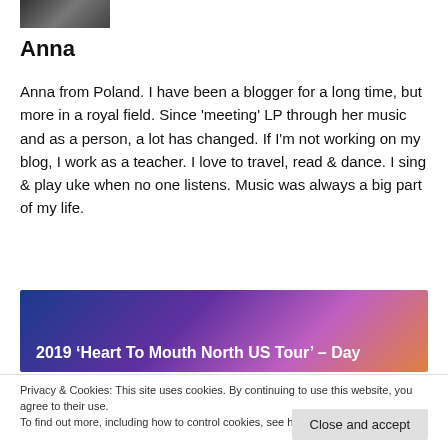[Figure (photo): Partial photo of a person, cropped at top of page]
Anna
Anna from Poland. I have been a blogger for a long time, but more in a royal field. Since 'meeting' LP through her music and as a person, a lot has changed. If I'm not working on my blog, I work as a teacher. I love to travel, read & dance. I sing & play uke when no one listens. Music was always a big part of my life.
[Figure (photo): Banner image with colorful background showing '2019 ‘Heart To Mouth North US Tour’ – Day' text overlay]
Privacy & Cookies: This site uses cookies. By continuing to use this website, you agree to their use.
To find out more, including how to control cookies, see here: Cookie Policy